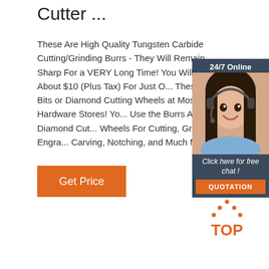Cutter ...
These Are High Quality Tungsten Carbide Cutting/Grinding Burrs - They Will Remain Sharp For a VERY Long Time! You Will Pay About $10 (Plus Tax) For Just One These Burr Bits or Diamond Cutting Wheels at Most Hardware Stores! You Use the Burrs And The Diamond Cutting Wheels For Cutting, Grinding, Engraving, Carving, Notching, and Much More!
[Figure (infographic): Chat widget with dark blue background showing '24/7 Online', photo of woman with headset, 'Click here for free chat!' text, and orange QUOTATION button]
[Figure (logo): Orange TOP logo with dotted triangle above the word TOP]
Get Price